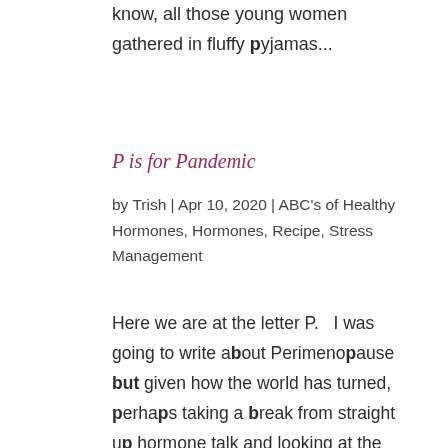know, all those young women gathered in fluffy pyjamas...
P is for Pandemic
by Trish | Apr 10, 2020 | ABC's of Healthy Hormones, Hormones, Recipe, Stress Management
Here we are at the letter P.   I was going to write about Perimenopause but given how the world has turned, perhaps taking a break from straight up hormone talk and looking at the most pressing issues related to the current global health situation is more relevant.